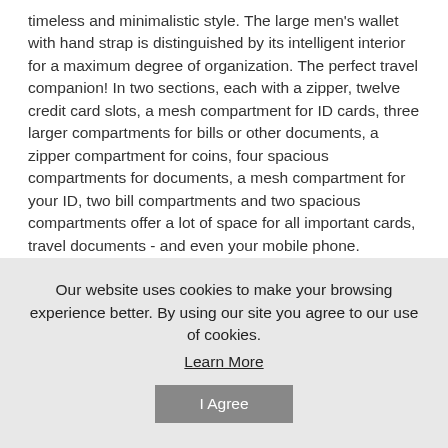timeless and minimalistic style. The large men's wallet with hand strap is distinguished by its intelligent interior for a maximum degree of organization. The perfect travel companion! In two sections, each with a zipper, twelve credit card slots, a mesh compartment for ID cards, three larger compartments for bills or other documents, a zipper compartment for coins, four spacious compartments for documents, a mesh compartment for your ID, two bill compartments and two spacious compartments offer a lot of space for all important cards, travel documents - and even your mobile phone.
DETAILS:
Our website uses cookies to make your browsing experience better. By using our site you agree to our use of cookies. Learn More